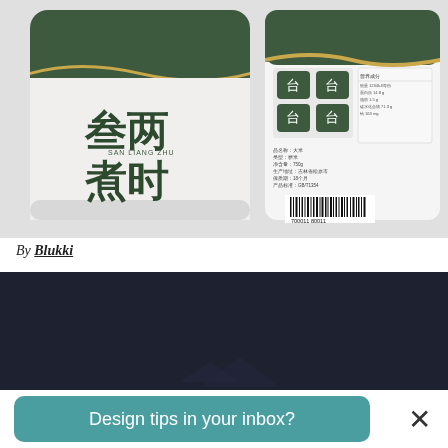[Figure (photo): Product photo showing two rice packaging bags. Left bag is front-facing, white and dark green with gold trim at top, Chinese characters reading 叁两煮时 (San Liang Zhu Shi) in dark green, with white rice visible through transparent lower section. Right bag shows the back of similar packaging with nutrition information panel, icons, and barcode.]
By Blukki
[Figure (photo): Dark navy/charcoal background image, partially visible, appears to be another product or design image.]
Design tips in your inbox?